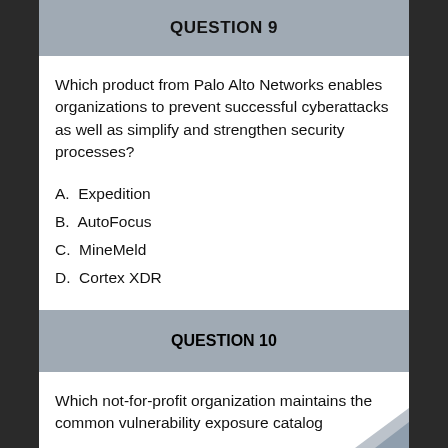QUESTION 9
Which product from Palo Alto Networks enables organizations to prevent successful cyberattacks as well as simplify and strengthen security processes?
A. Expedition
B. AutoFocus
C. MineMeld
D. Cortex XDR
QUESTION 10
Which not-for-profit organization maintains the common vulnerability exposure catalog